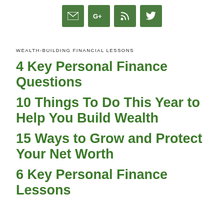[Figure (other): Row of four green icon buttons: email, Google+, RSS feed, Twitter]
WEALTH-BUILDING FINANCIAL LESSONS
4 Key Personal Finance Questions
10 Things To Do This Year to Help You Build Wealth
15 Ways to Grow and Protect Your Net Worth
6 Key Personal Finance Lessons